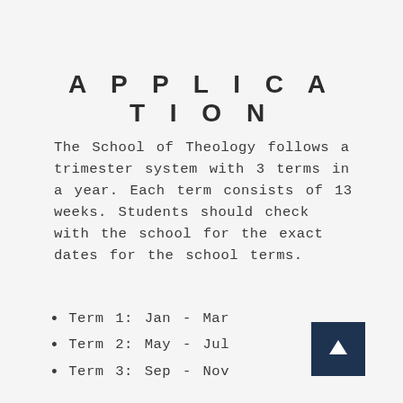APPLICATION
The School of Theology follows a trimester system with 3 terms in a year. Each term consists of 13 weeks. Students should check with the school for the exact dates for the school terms.
Term 1: Jan - Mar
Term 2: May - Jul
Term 3: Sep - Nov
[Figure (illustration): Dark navy square button with an upward-pointing white arrow icon]